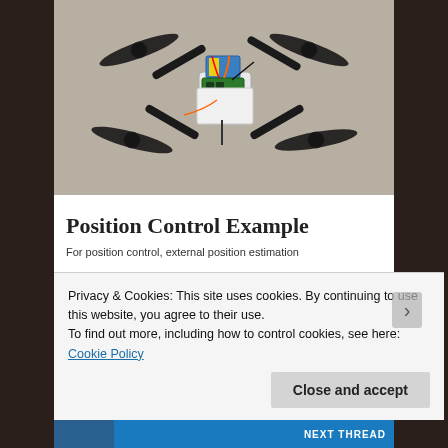[Figure (photo): Top-down photograph of a quadcopter drone with four propellers, electronic components including a battery (blue/yellow), circuit boards, and wiring mounted on a black frame, placed on a gray carpet floor.]
Position Control Example
For position control, external position estimation
Privacy & Cookies: This site uses cookies. By continuing to use this website, you agree to their use.
To find out more, including how to control cookies, see here: Cookie Policy
Close and accept